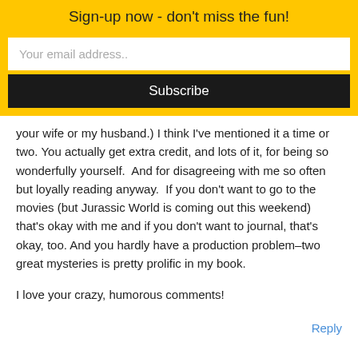Sign-up now - don't miss the fun!
[Figure (screenshot): Email subscription input field with placeholder 'Your email address..']
[Figure (screenshot): Subscribe button, dark background with white text]
your wife or my husband.) I think I've mentioned it a time or two. You actually get extra credit, and lots of it, for being so wonderfully yourself.  And for disagreeing with me so often but loyally reading anyway.  If you don't want to go to the movies (but Jurassic World is coming out this weekend) that's okay with me and if you don't want to journal, that's okay, too. And you hardly have a production problem–two great mysteries is pretty prolific in my book.
I love your crazy, humorous comments!
Reply